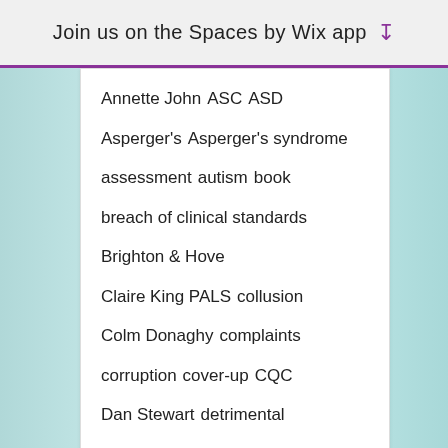Join us on the Spaces by Wix app
Annette John  ASC  ASD
Asperger's  Asperger's syndrome
assessment  autism  book
breach of clinical standards
Brighton & Hove
Claire King PALS  collusion
Colm Donaghy  complaints
corruption  cover-up  CQC
Dan Stewart  detrimental
diagnosis  diagnostic corruption
diagnostic failure
diagnostic negligence
disability discrimination